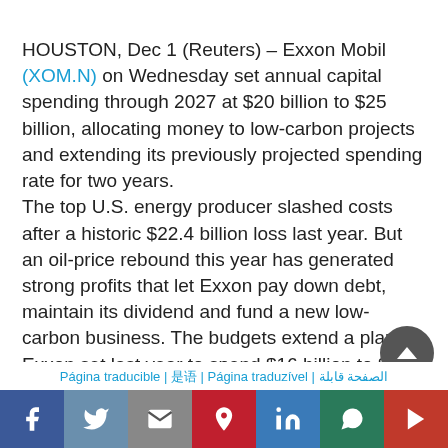HOUSTON, Dec 1 (Reuters) – Exxon Mobil (XOM.N) on Wednesday set annual capital spending through 2027 at $20 billion to $25 billion, allocating money to low-carbon projects and extending its previously projected spending rate for two years. The top U.S. energy producer slashed costs after a historic $22.4 billion loss last year. But an oil-price rebound this year has generated strong profits that let Exxon pay down debt, maintain its dividend and fund a new low-carbon business. The budgets extend a plan Exxon set last year to spend $16 billion to $19 billion this year and between $20...
Página traducible | ????? | Página traduzível | ??????? ??????